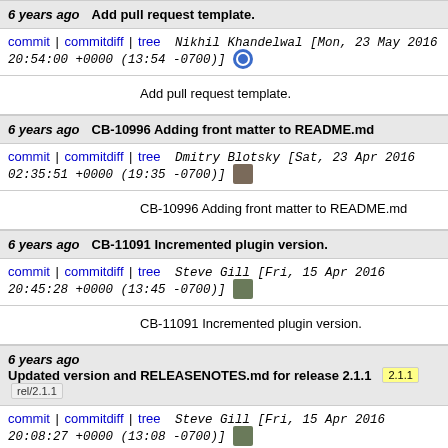6 years ago — Add pull request template.
commit | commitdiff | tree   Nikhil Khandelwal [Mon, 23 May 2016 20:54:00 +0000 (13:54 -0700)]
Add pull request template.
6 years ago — CB-10996 Adding front matter to README.md
commit | commitdiff | tree   Dmitry Blotsky [Sat, 23 Apr 2016 02:35:51 +0000 (19:35 -0700)]
CB-10996 Adding front matter to README.md
6 years ago — CB-11091 Incremented plugin version.
commit | commitdiff | tree   Steve Gill [Fri, 15 Apr 2016 20:45:28 +0000 (13:45 -0700)]
CB-11091 Incremented plugin version.
6 years ago — Updated version and RELEASENOTES.md for release 2.1.1  [2.1.1] [rel/2.1.1]
commit | commitdiff | tree   Steve Gill [Fri, 15 Apr 2016 20:08:27 +0000 (13:08 -0700)]